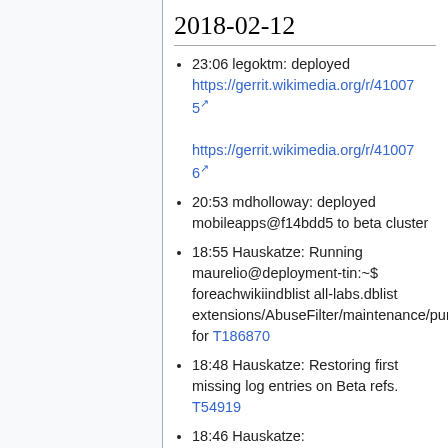2018-02-12
23:06 legoktm: deployed https://gerrit.wikimedia.org/r/410075 https://gerrit.wikimedia.org/r/410076
20:53 mdholloway: deployed mobileapps@f14bdd5 to beta cluster
18:55 Hauskatze: Running maurelio@deployment-tin:~$ foreachwikiindblist all-labs.dblist extensions/AbuseFilter/maintenance/pur for T186870
18:48 Hauskatze: Restoring first missing log entries on Beta refs. T54919
18:46 Hauskatze: maurelio@deployment-tin:~$ mwscript